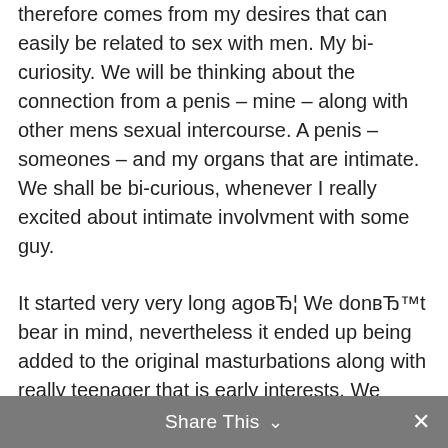therefore comes from my desires that can easily be related to sex with men. My bi-curiosity. We will be thinking about the connection from a penis – mine – along with other mens sexual intercourse. A penis – someones – and my organs that are intimate. We shall be bi-curious, whenever I really excited about intimate involvment with some guy.
It started very very long agoвЂ¦ We donвЂ™t bear in mind, nevertheless it ended up being added to the original masturbations along with really teenager that is early interests. We happened to be just interested, however I would a time that is long my really very first proper sex with a lady. We remember We masturbated, and very often I became thinking
Share This ∨  ✕